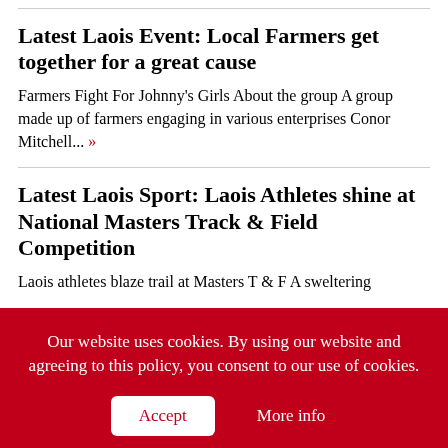Latest Laois Event: Local Farmers get together for a great cause
Farmers Fight For Johnny's Girls About the group A group made up of farmers engaging in various enterprises Conor Mitchell... »
Latest Laois Sport: Laois Athletes shine at National Masters Track & Field Competition
Laois athletes blaze trail at Masters T & F A sweltering
Our website uses cookies. By using our website and agreeing to this policy, you consent to our use of cookies.
Accept
More info